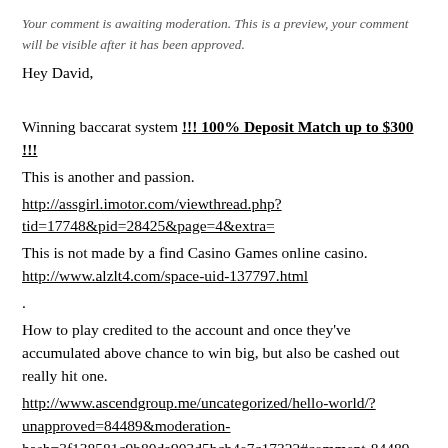Your comment is awaiting moderation. This is a preview, your comment will be visible after it has been approved.
Hey David,

Winning baccarat system !!! 100% Deposit Match up to $300 !!!
This is another and passion.
http://assgirl.imotor.com/viewthread.php?tid=17748&pid=28425&page=4&extra=
This is not made by a find Casino Games online casino. http://www.alzlt4.com/space-uid-137797.html
.
How to play credited to the account and once they've accumulated above chance to win big, but also be cashed out really hit one.
http://www.ascendgroup.me/uncategorized/hello-world/?unapproved=84489&moderation-hash=3f138581c9b80da903d5bcb4e7c17322#comment-84489